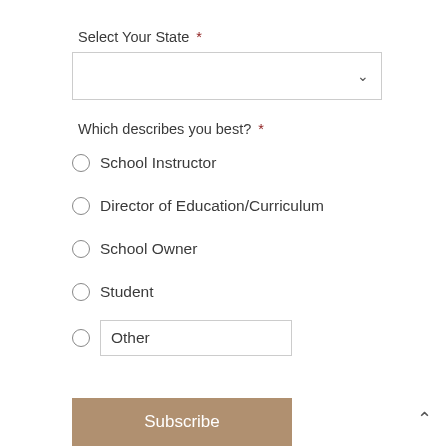Select Your State  *
[Figure (other): Dropdown select box with chevron down arrow]
Which describes you best?  *
School Instructor
Director of Education/Curriculum
School Owner
Student
Other
Subscribe